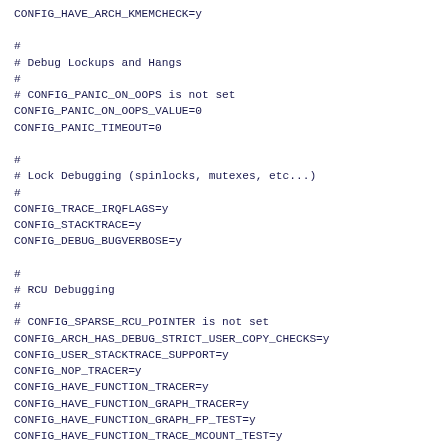CONFIG_HAVE_ARCH_KMEMCHECK=y

#
# Debug Lockups and Hangs
#
# CONFIG_PANIC_ON_OOPS is not set
CONFIG_PANIC_ON_OOPS_VALUE=0
CONFIG_PANIC_TIMEOUT=0

#
# Lock Debugging (spinlocks, mutexes, etc...)
#
CONFIG_TRACE_IRQFLAGS=y
CONFIG_STACKTRACE=y
CONFIG_DEBUG_BUGVERBOSE=y

#
# RCU Debugging
#
# CONFIG_SPARSE_RCU_POINTER is not set
CONFIG_ARCH_HAS_DEBUG_STRICT_USER_COPY_CHECKS=y
CONFIG_USER_STACKTRACE_SUPPORT=y
CONFIG_NOP_TRACER=y
CONFIG_HAVE_FUNCTION_TRACER=y
CONFIG_HAVE_FUNCTION_GRAPH_TRACER=y
CONFIG_HAVE_FUNCTION_GRAPH_FP_TEST=y
CONFIG_HAVE_FUNCTION_TRACE_MCOUNT_TEST=y
CONFIG_HAVE_DYNAMIC_FTRACE=y
CONFIG_HAVE_DYNAMIC_FTRACE_WITH_REGS=y
CONFIG_HAVE_FTRACE_MCOUNT_RECORD=y